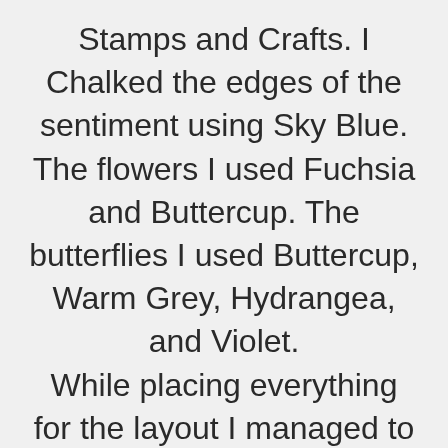Stamps and Crafts. I Chalked the edges of the sentiment using Sky Blue. The flowers I used Fuchsia and Buttercup. The butterflies I used Buttercup, Warm Grey, Hydrangea, and Violet. While placing everything for the layout I managed to lose a flower, but you will see in my